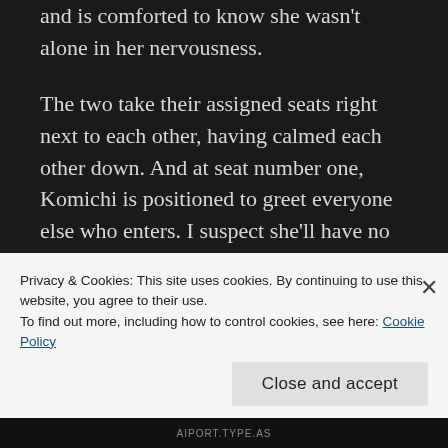and is comforted to know she wasn't alone in her nervousness.
The two take their assigned seats right next to each other, having calmed each other down. And at seat number one, Komichi is positioned to greet everyone else who enters. I suspect she'll have no trouble making more friends.
As I said in the first 'graph, CloverWorks really outdid themselves; this is a surpassingly beautiful episode of anime, so much so that my main concern is whether
Privacy & Cookies: This site uses cookies. By continuing to use this website, you agree to their use.
To find out more, including how to control cookies, see here: Cookie Policy
Close and accept
AIPORT.TYPE.AS